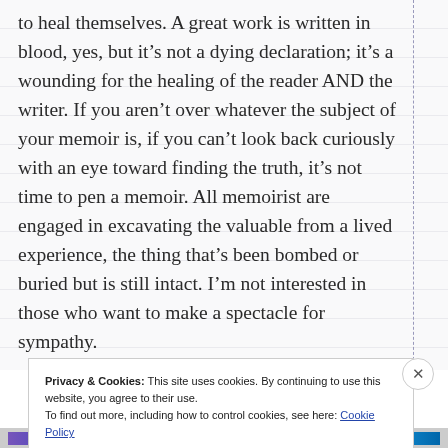to heal themselves. A great work is written in blood, yes, but it's not a dying declaration; it's a wounding for the healing of the reader AND the writer. If you aren't over whatever the subject of your memoir is, if you can't look back curiously with an eye toward finding the truth, it's not time to pen a memoir. All memoirist are engaged in excavating the valuable from a lived experience, the thing that's been bombed or buried but is still intact. I'm not interested in those who want to make a spectacle for sympathy.
Privacy & Cookies: This site uses cookies. By continuing to use this website, you agree to their use.
To find out more, including how to control cookies, see here: Cookie Policy
Close and accept